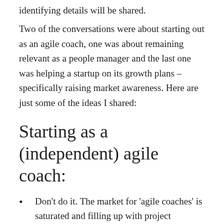identifying details will be shared.
Two of the conversations were about starting out as an agile coach, one was about remaining relevant as a people manager and the last one was helping a startup on its growth plans – specifically raising market awareness. Here are just some of the ideas I shared:
Starting as a (independent) agile coach:
Don't do it. The market for 'agile coaches' is saturated and filling up with project managers, scrum masters and all sorts of other folk. Rather than be bound to some title, strive to be of value instead by